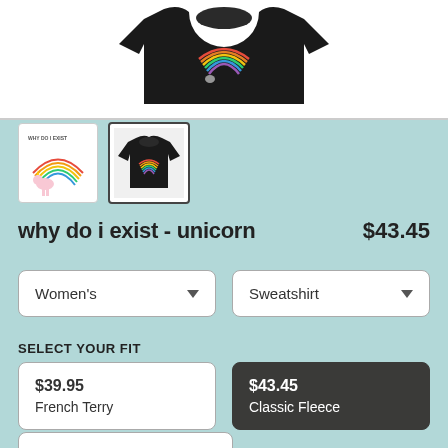[Figure (photo): Black sweatshirt product photo on white background]
[Figure (photo): Thumbnail 1: unicorn rainbow graphic tee design on white background]
[Figure (photo): Thumbnail 2: black sweatshirt with rainbow unicorn graphic, selected state with dark border]
why do i exist - unicorn    $43.45
Women's
Sweatshirt
SELECT YOUR FIT
$39.95
French Terry
$43.45
Classic Fleece